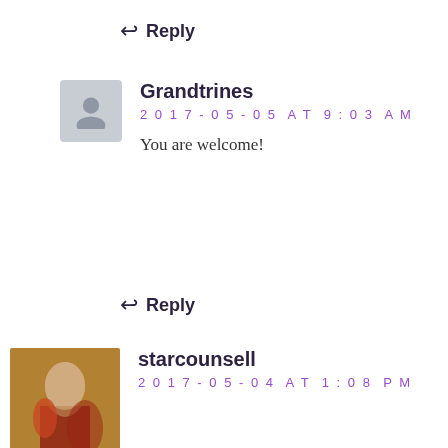↩ Reply
Grandtrines
2017-05-05 AT 9:03 AM
You are welcome!
↩ Reply
starcounsell
2017-05-04 AT 1:08 PM
Thankyou Tina for your last three “Chiron in the houses” posts. Great work and it feels as though it has been a long day for you. I have Chiron in the 11th and I have lways been one who works for groups,